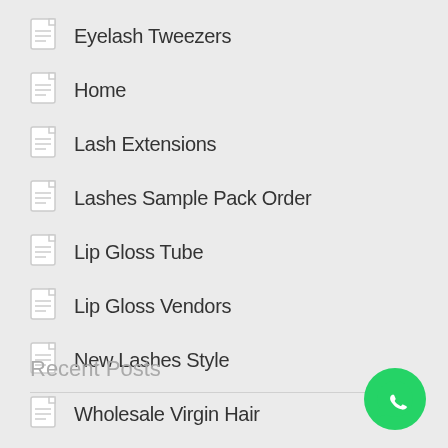Eyelash Tweezers
Home
Lash Extensions
Lashes Sample Pack Order
Lip Gloss Tube
Lip Gloss Vendors
New Lashes Style
Wholesale Virgin Hair
Recent Posts
[Figure (logo): WhatsApp green circle button with phone handset icon]